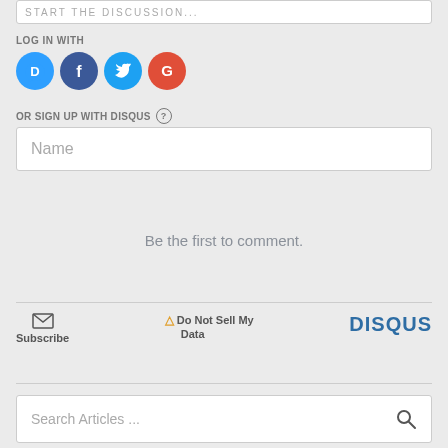[Figure (screenshot): Partial text input box at top, partially visible with placeholder text]
LOG IN WITH
[Figure (infographic): Row of four social login buttons: Disqus (blue circle with D), Facebook (dark blue circle with f), Twitter (light blue circle with bird), Google (red circle with G)]
OR SIGN UP WITH DISQUS ?
[Figure (screenshot): Name input field with placeholder text 'Name']
Be the first to comment.
Subscribe
Do Not Sell My Data
[Figure (logo): DISQUS logo in dark blue bold text]
[Figure (screenshot): Search Articles ... input field with magnifying glass icon]